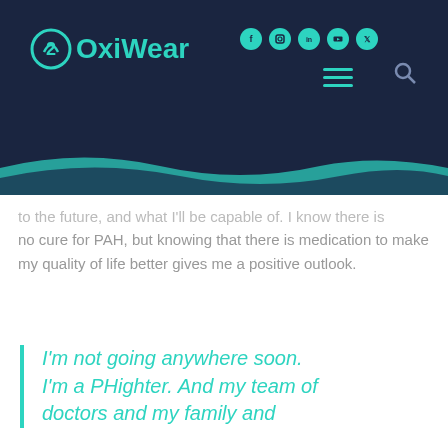[Figure (logo): OxiWear logo with teal circular icon and text]
OxiWear website header with social media icons, hamburger menu, and search icon
to the future, and what I'll be capable of. I know there is no cure for PAH, but knowing that there is medication to make my quality of life better gives me a positive outlook.
I'm not going anywhere soon. I'm a PHighter. And my team of doctors and my family and